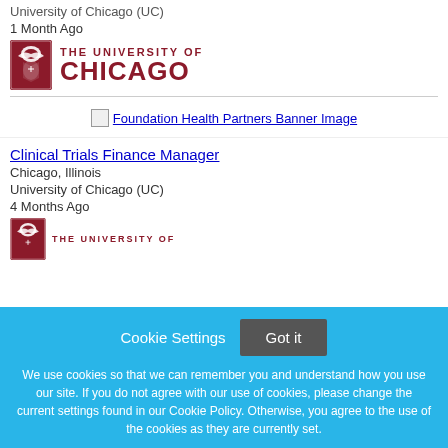University of Chicago (UC)
1 Month Ago
[Figure (logo): University of Chicago logo with shield and text THE UNIVERSITY OF CHICAGO]
[Figure (illustration): Foundation Health Partners Banner Image (broken image placeholder with link text)]
Clinical Trials Finance Manager
Chicago, Illinois
University of Chicago (UC)
4 Months Ago
[Figure (logo): University of Chicago logo (partial) - THE UNIVERSITY OF (cut off)]
Cookie Settings
Got it
We use cookies so that we can remember you and understand how you use our site. If you do not agree with our use of cookies, please change the current settings found in our Cookie Policy. Otherwise, you agree to the use of the cookies as they are currently set.